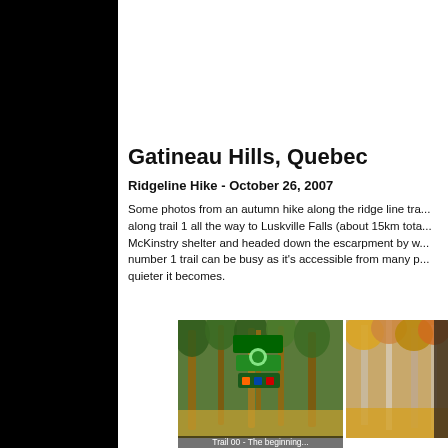[Figure (logo): Peak Fever logo with oval dark blue background and chrome-style text, mountain photo behind]
Gatineau Hills, Quebec
Ridgeline Hike - October 26, 2007
Some photos from an autumn hike along the ridge line trail along trail 1 all the way to Luskville Falls (about 15km total). McKinstry shelter and headed down the escarpment by w... number 1 trail can be busy as it's accessible from many p... quieter it becomes.
[Figure (photo): Trail sign post in autumn forest with colorful trail markers]
[Figure (photo): Autumn forest scene, partial view]
Trail 00 - The beginning...